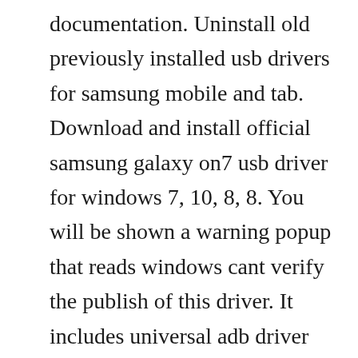documentation. Uninstall old previously installed usb drivers for samsung mobile and tab. Download and install official samsung galaxy on7 usb driver for windows 7, 10, 8, 8. You will be shown a warning popup that reads windows cant verify the publish of this driver. It includes universal adb driver for windows, linux and mac os via mtp. In most cases, android usb driver should be automatically installed when you first connect your handset to a windows 7 810 computer. Through this post, you can download samsung usb drivers for all samsung smartphones and tablets via